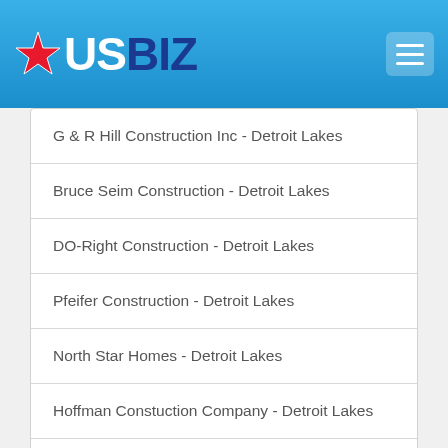USBIZ
G & R Hill Construction Inc - Detroit Lakes
Bruce Seim Construction - Detroit Lakes
DO-Right Construction - Detroit Lakes
Pfeifer Construction - Detroit Lakes
North Star Homes - Detroit Lakes
Hoffman Constuction Company - Detroit Lakes
Hoffman Construction Company - Detroit Lakes
Home | Privacy Policy | Contact Us | All US Small Business Database